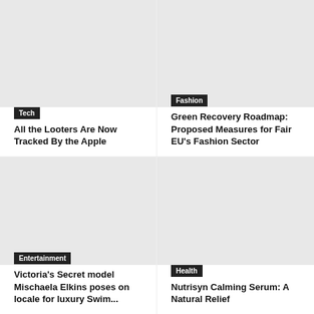[Figure (photo): Article thumbnail image placeholder for Tech article]
Tech
All the Looters Are Now Tracked By the Apple
[Figure (photo): Article thumbnail image placeholder for Fashion article]
Fashion
Green Recovery Roadmap: Proposed Measures for Fair EU's Fashion Sector
[Figure (photo): Article thumbnail image placeholder for Entertainment article]
Entertainment
Victoria's Secret model Mischaela Elkins poses on locale for luxury Swim...
[Figure (photo): Article thumbnail image placeholder for Health article]
Health
Nutrisyn Calming Serum: A Natural Relief